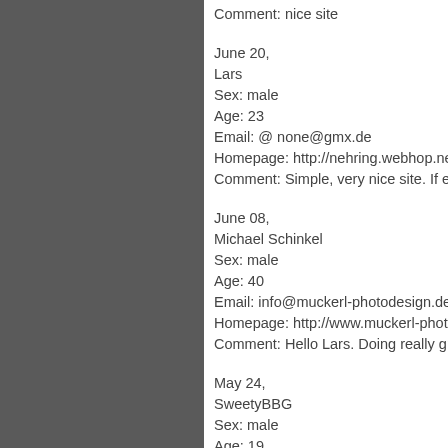Comment: nice site
June 20,
Lars
Sex: male
Age: 23
Email: @ none@gmx.de
Homepage: http://nehring.webhop.net
Comment: Simple, very nice site. If everyth
June 08,
Michael Schinkel
Sex: male
Age: 40
Email: info@muckerl-photodesign.de
Homepage: http://www.muckerl-photodesig
Comment: Hello Lars. Doing really great wo
May 24,
SweetyBBG
Sex: male
Age: 19
Email: BoyfromBBG@web.de
Comment: WOW, the page iste no great, a